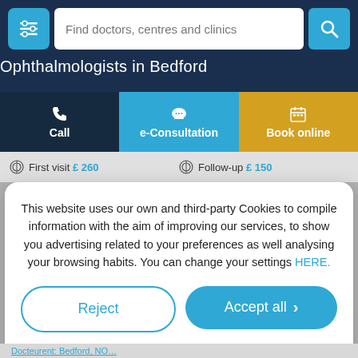[Figure (screenshot): Search bar with filter icon and magnifying glass icon, placeholder text 'Find doctors, centres and clinics']
Ophthalmologists in Bedford
[Figure (infographic): Three action buttons: Call (dark navy), e-Consultation (blue), Book online (amber/gold)]
First visit £ 260   Follow-up £ 150
This website uses our own and third-party Cookies to compile information with the aim of improving our services, to show you advertising related to your preferences as well analysing your browsing habits. You can change your settings HERE.
Reject
Accept all
Custom configuration | Cookies Policy | Privacy Policy